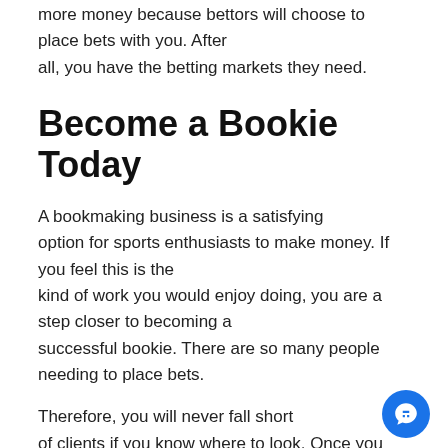more money because bettors will choose to place bets with you. After all, you have the betting markets they need.
Become a Bookie Today
A bookmaking business is a satisfying option for sports enthusiasts to make money. If you feel this is the kind of work you would enjoy doing, you are a step closer to becoming a successful bookie. There are so many people needing to place bets.
Therefore, you will never fall short of clients if you know where to look. Once you address the top four points above, contact Power Pay Per Head as the industry exp...